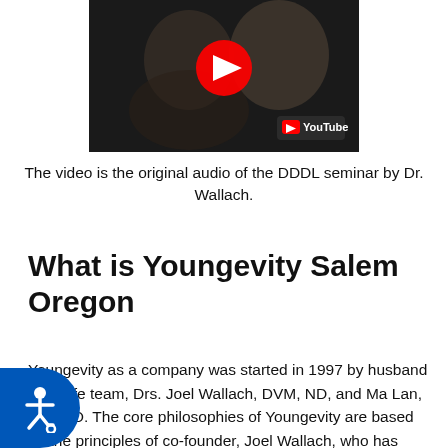[Figure (screenshot): YouTube video thumbnail showing a dark/blurred image with a red YouTube play button in the center and YouTube logo at bottom right]
The video is the original audio of the DDDL seminar by Dr. Wallach.
What is Youngevity Salem Oregon
Youngevity as a company was started in 1997 by husband and wife team, Drs. Joel Wallach, DVM, ND, and Ma Lan, MS, MD. The core philosophies of Youngevity are based on the principles of co-founder, Joel Wallach, who has dedicated his 40-year career to answer one crucial question: How can we live healthy, younger and longer lives?